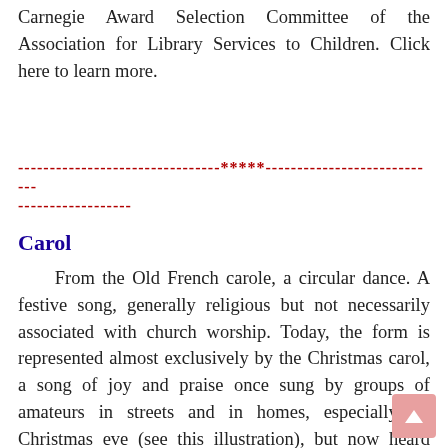Carnegie Award Selection Committee of the Association for Library Services to Children. Click here to learn more.
--------------------------------*****----------------------------
------------------
Carol
From the Old French carole, a circular dance. A festive song, generally religious but not necessarily associated with church worship. Today, the form is represented almost exclusively by the Christmas carol, a song of joy and praise once sung by groups of amateurs in streets and in homes, especially on Christmas eve (see this illustration), but now heard mainly as muzak piped into retail businesses.